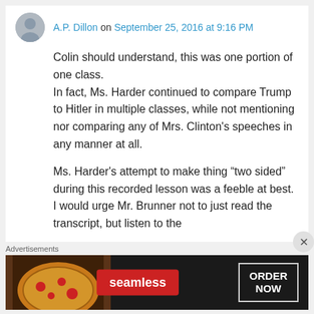A.P. Dillon on September 25, 2016 at 9:16 PM
Colin should understand, this was one portion of one class.
In fact, Ms. Harder continued to compare Trump to Hitler in multiple classes, while not mentioning nor comparing any of Mrs. Clinton's speeches in any manner at all.
Ms. Harder's attempt to make thing “two sided” during this recorded lesson was a feeble at best. I would urge Mr. Brunner not to just read the transcript, but listen to the
Advertisements